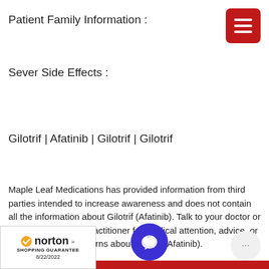Patient Family Information :
Sever Side Effects :
Gilotrif | Afatinib | Gilotrif | Gilotrif
Maple Leaf Medications has provided information from third parties intended to increase awareness and does not contain all the information about Gilotrif (Afatinib). Talk to your doctor or a qualified medical practitioner for medical attention, advice, or if you have any concerns about Gilotrif (Afatinib).
[Figure (logo): Norton Shopping Guarantee badge with checkmark, date 8/22/2022]
[Figure (other): Blue circular chat button icon]
[Figure (other): Grey circular dots/menu button]